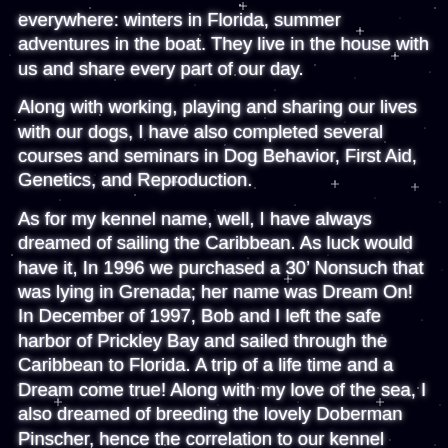everywhere:  winters in Florida, summer adventures in the boat.  They live in the house with us and share every part of our day.
Along with working, playing and sharing our lives with our dogs, I have also completed several courses and seminars in Dog Behavior, First Aid, Genetics, and Reproduction.
As for my kennel name,  well, I have always dreamed of sailing the Caribbean. As luck would have it, In 1996 we purchased a 30’ Nonsuch that was lying in Grenada; her name was Dream On!  In December of 1997, Bob and I left the safe harbor of Prickley Bay and sailed through the Caribbean to Florida.  A trip of a life time and a Dream come true!  Along with my love of the sea, I also dreamed of breeding the lovely Doberman Pinscher, hence the correlation to our kennel name.   Dream until your dreams come true!!